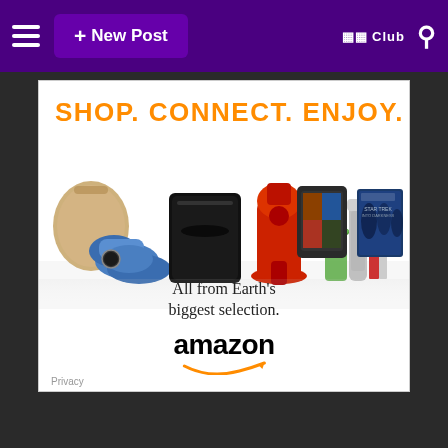+ New Post  🔲🔲 Club 🔍
[Figure (illustration): Amazon advertisement banner showing 'SHOP. CONNECT. ENJOY.' headline in orange, with product images including handbag, shoes, PS4 console, KitchenAid mixer, cocktail shaker, Kindle tablet, books, and Star Trek Blu-ray movie case. Below products: 'All from Earth's biggest selection.' with Amazon logo and smile arrow.]